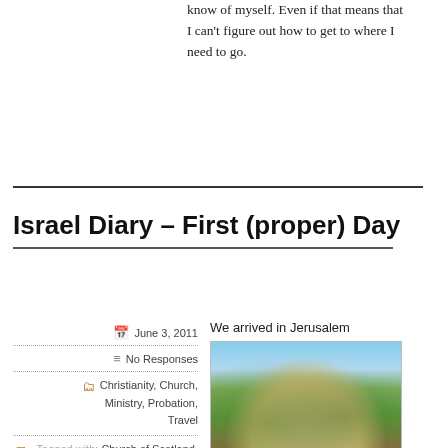know of myself. Even if that means that I can't figure out how to get to where I need to go.
Israel Diary – First (proper) Day
June 3, 2011
No Responses
Christianity, Church, Ministry, Probation, Travel
Tagged with: Church of Scotland, Gehenna, Israel, Jerusalem
We arrived in Jerusalem
[Figure (photo): Landscape photo of Jerusalem with trees and buildings on hillside under blue sky]
at around 4.30 this morning and, after an all